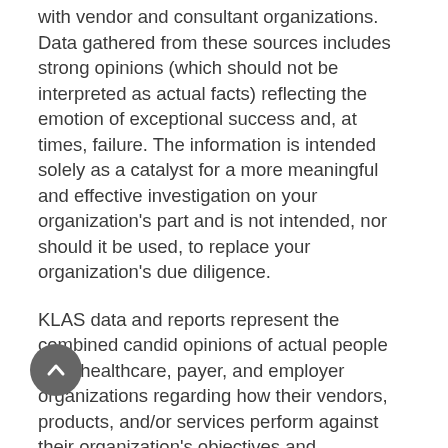with vendor and consultant organizations. Data gathered from these sources includes strong opinions (which should not be interpreted as actual facts) reflecting the emotion of exceptional success and, at times, failure. The information is intended solely as a catalyst for a more meaningful and effective investigation on your organization's part and is not intended, nor should it be used, to replace your organization's due diligence.
KLAS data and reports represent the combined candid opinions of actual people from healthcare, payer, and employer organizations regarding how their vendors, products, and/or services perform against their organization's objectives and expectations. The findings presented are not meant to be conclusive data for an entire client base. Significant variables—including a respondent's role within their organization as well as the organization's type (rural, teaching, specialty, etc.), size, objectives, depth/breadth of